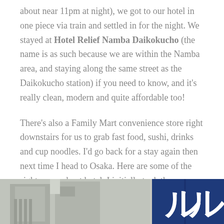about near 11pm at night), we got to our hotel in one piece via train and settled in for the night. We stayed at Hotel Relief Namba Daikokucho (the name is as such because we are within the Namba area, and staying along the same street as the Daikokucho station) if you need to know, and it's really clean, modern and quite affordable too!
There's also a Family Mart convenience store right downstairs for us to grab fast food, sushi, drinks and cup noodles. I'd go back for a stay again then next time I head to Osaka. Here are some of the sights around out hotel. I initially took these photos because I was afraid we might forgot where our hotel was!
[Figure (photo): Street-level photo of buildings in Osaka, Japan. On the right side is a large blue sign with Japanese katakana characters (ル) in white. The left portion shows grey/beige building facades and what appears to be covered walkways or storefronts.]